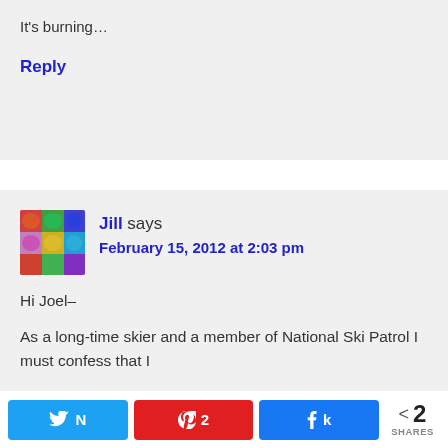It's burning…
Reply
Jill says
February 15, 2012 at 2:03 pm
Hi Joel–
As a long-time skier and a member of National Ski Patrol I must confess that I
Twitter | Pinterest 2 | Facebook | < 2 SHARES